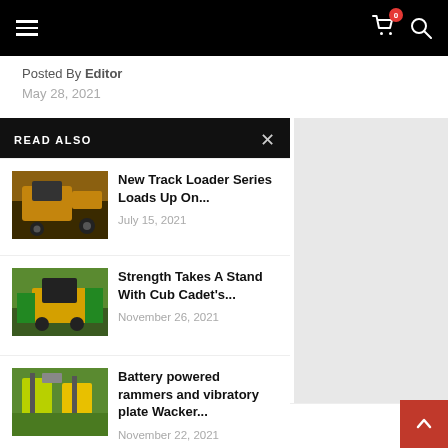Navigation bar with hamburger menu, shopping cart icon with badge '0', and search icon
Posted By Editor
May 28, 2021
READ ALSO
New Track Loader Series Loads Up On...
July 15, 2021
Strength Takes A Stand With Cub Cadet's...
November 26, 2021
Battery powered rammers and vibratory plate Wacker...
November 22, 2021
ged, innovative product